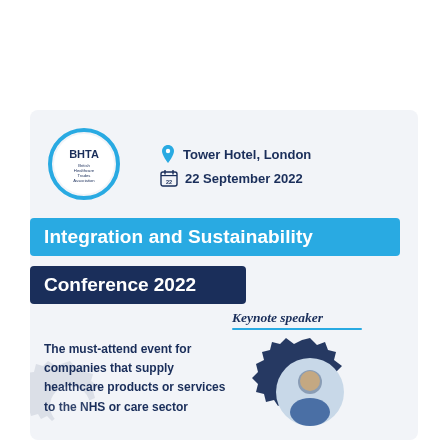[Figure (logo): BHTA (British Healthcare Trades Association) circular logo with blue ring]
Tower Hotel, London
22 September 2022
Integration and Sustainability
Conference 2022
Keynote speaker
The must-attend event for companies that supply healthcare products or services to the NHS or care sector
[Figure (photo): Keynote speaker photo inside a dark blue gear/cog graphic]